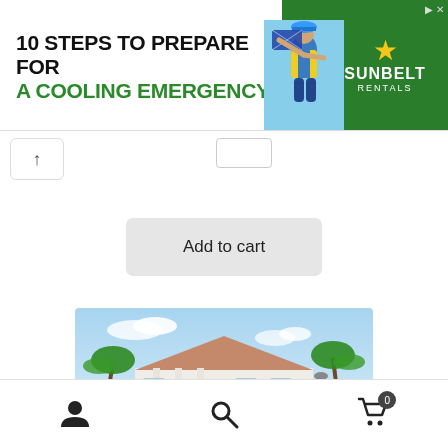[Figure (infographic): Advertisement banner: '10 STEPS TO PREPARE FOR A COOLING EMERGENCY' with a worker in yellow vest holding a panel, and Sunbelt Rentals logo on green background]
$99.99   $0.00
Add to cart
[Figure (photo): Exterior rendering of a single-story house with a hipped roof, white columns, palm trees, and lush landscaping. Watermark: ProHomeDetails.com]
Navigation bar with user icon, search icon, and shopping cart icon with badge '0'